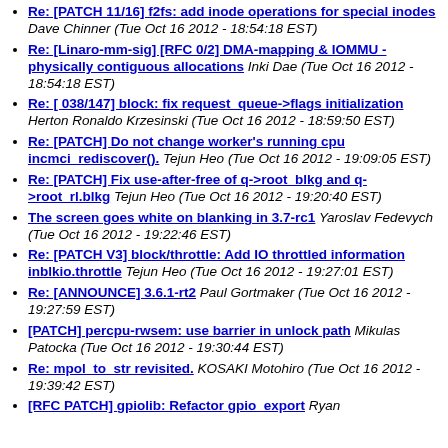Re: [PATCH 11/16] f2fs: add inode operations for special inodes Dave Chinner (Tue Oct 16 2012 - 18:54:18 EST)
Re: [Linaro-mm-sig] [RFC 0/2] DMA-mapping & IOMMU - physically contiguous allocations Inki Dae (Tue Oct 16 2012 - 18:54:18 EST)
Re: [ 038/147] block: fix request_queue->flags initialization Herton Ronaldo Krzesinski (Tue Oct 16 2012 - 18:59:50 EST)
Re: [PATCH] Do not change worker's running cpu incmci_rediscover(). Tejun Heo (Tue Oct 16 2012 - 19:09:05 EST)
Re: [PATCH] Fix use-after-free of q->root_blkg and q->root_rl.blkg Tejun Heo (Tue Oct 16 2012 - 19:20:40 EST)
The screen goes white on blanking in 3.7-rc1 Yaroslav Fedevych (Tue Oct 16 2012 - 19:22:46 EST)
Re: [PATCH V3] block/throttle: Add IO throttled information inblkio.throttle Tejun Heo (Tue Oct 16 2012 - 19:27:01 EST)
Re: [ANNOUNCE] 3.6.1-rt2 Paul Gortmaker (Tue Oct 16 2012 - 19:27:59 EST)
[PATCH] percpu-rwsem: use barrier in unlock path Mikulas Patocka (Tue Oct 16 2012 - 19:30:44 EST)
Re: mpol_to_str revisited. KOSAKI Motohiro (Tue Oct 16 2012 - 19:39:42 EST)
[RFC PATCH] gpiolib: Refactor gpio_export Ryan